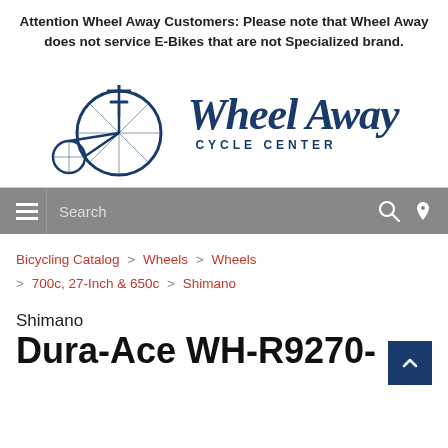Attention Wheel Away Customers: Please note that Wheel Away does not service E-Bikes that are not Specialized brand.
[Figure (logo): Wheel Away Cycle Center logo with penny-farthing bicycle illustration and stylized script text]
[Figure (screenshot): Navigation bar with hamburger menu, search box, search icon, and location icon]
Bicycling Catalog > Wheels > Wheels > 700c, 27-Inch & 650c > Shimano
Shimano Dura-Ace WH-R9270-